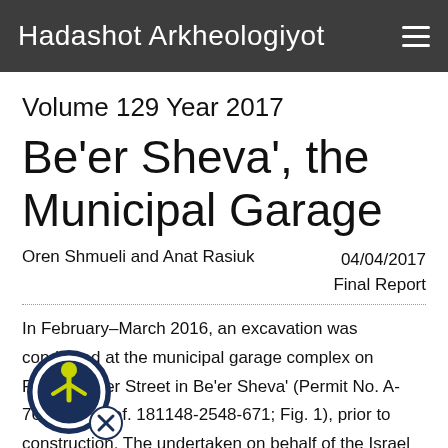Hadashot Arkheologiyot
Volume 129 Year 2017
Be'er Sheva', the Municipal Garage
Oren Shmueli and Anat Rasiuk
04/04/2017
Final Report
In February–March 2016, an excavation was conducted at the municipal garage complex on Recha Freier Street in Be'er Sheva' (Permit No. A-7636; map ref. 181148-2548-671; Fig. 1), prior to construction. The undertaken on behalf of the Israel Antiquities